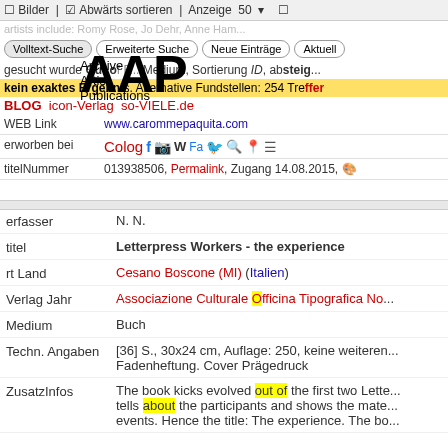Bilder | Abwärts sortieren | Anzeige 50
artists include: Romy Rose, Jo Dehr, Anne Ham...
Volltext-Suche | Erweiterte Suche | Neue Einträge | Aktuell
AAP Archive Artist Publications
Gesucht wurde Out of F... Medium, Sortierung ID, absteig...
kein exaktes Ergebnis. Alternative Fundstellen: 254 Treffer
BLOG icon-Verlag so-VIELE.de
WEB Link www.carommepaquita.com
erworben bei Colog... [social media icons]
titelNummer 013938506, Permalink, Zugang 14.08.2015
erfasser N. N.
titel Letterpress Workers - the experience
rt Land Cesano Boscone (MI) (Italien)
Verlag Jahr Associazione Culturale Officina Tipografica No...
Medium Buch
Techn. Angaben [36] S., 30x24 cm, Auflage: 250, keine weiteren... Fadenheftung. Cover Prägedruck
ZusatzInfos The book kicks evolved out of the first two Lette... tells about the participants and shows the mate... events. Hence the title: The experience. The bo...